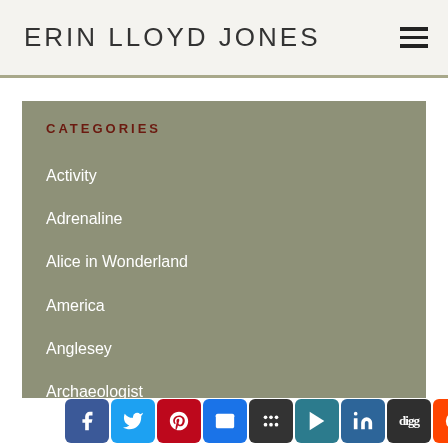ERIN LLOYD JONES
CATEGORIES
Activity
Adrenaline
Alice in Wonderland
America
Anglesey
Archaeologist
Archaeology